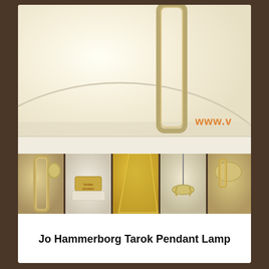[Figure (photo): Close-up photograph of a Jo Hammerborg Tarok pendant lamp showing the cream/off-white lamp shade with a gold/brass rounded rectangular hanger bracket. A partial watermark 'www.v' is visible in orange at the bottom right of the main image. Below the main image is a row of five thumbnail detail photos of the same lamp showing different angles and details including close-ups of the bracket, label, brass shade, hanging cord, and side view.]
Jo Hammerborg Tarok Pendant Lamp